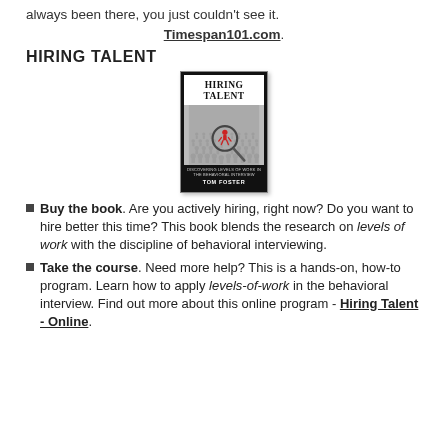always been there, you just couldn't see it.
Timespan101.com.
HIRING TALENT
[Figure (illustration): Book cover of 'Hiring Talent' by Tom Foster showing magnifying glass over crowd with red figure highlighted, subtitle 'Discovering Levels of Work in the Behavioral Interview']
Buy the book. Are you actively hiring, right now? Do you want to hire better this time? This book blends the research on levels of work with the discipline of behavioral interviewing.
Take the course. Need more help? This is a hands-on, how-to program. Learn how to apply levels-of-work in the behavioral interview. Find out more about this online program - Hiring Talent - Online.